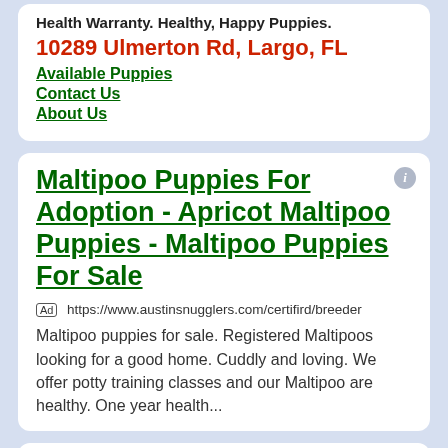Health Warranty. Healthy, Happy Puppies.
10289 Ulmerton Rd, Largo, FL
Available Puppies
Contact Us
About Us
Maltipoo Puppies For Adoption - Apricot Maltipoo Puppies - Maltipoo Puppies For Sale
Ad https://www.austinsnugglers.com/certifird/breeder
Maltipoo puppies for sale. Registered Maltipoos looking for a good home. Cuddly and loving. We offer potty training classes and our Maltipoo are healthy. One year health...
Maltipoo Puppies - Maltese Poodle Puppies - Maltipoo puppy for sale